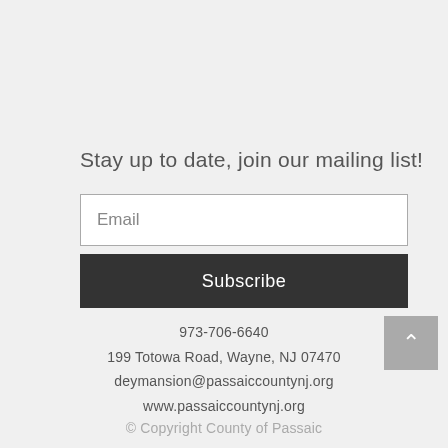Stay up to date, join our mailing list!
Email
Subscribe
973-706-6640
199 Totowa Road, Wayne, NJ 07470
deymansion@passaiccountynj.org
www.passaiccountynj.org
© Copyright County of Passaic